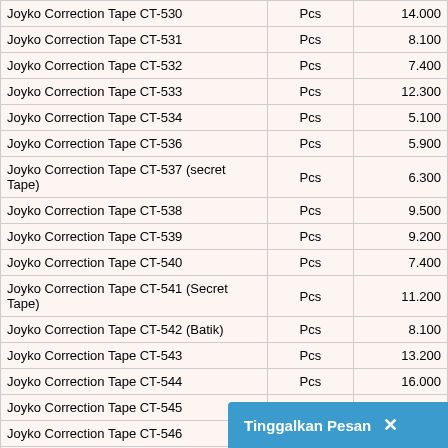| Product | Unit | Price |
| --- | --- | --- |
| Joyko Correction Tape CT-530 | Pcs | 14.000 |
| Joyko Correction Tape CT-531 | Pcs | 8.100 |
| Joyko Correction Tape CT-532 | Pcs | 7.400 |
| Joyko Correction Tape CT-533 | Pcs | 12.300 |
| Joyko Correction Tape CT-534 | Pcs | 5.100 |
| Joyko Correction Tape CT-536 | Pcs | 5.900 |
| Joyko Correction Tape CT-537 (secret Tape) | Pcs | 6.300 |
| Joyko Correction Tape CT-538 | Pcs | 9.500 |
| Joyko Correction Tape CT-539 | Pcs | 9.200 |
| Joyko Correction Tape CT-540 | Pcs | 7.400 |
| Joyko Correction Tape CT-541 (Secret Tape) | Pcs | 11.200 |
| Joyko Correction Tape CT-542 (Batik) | Pcs | 8.100 |
| Joyko Correction Tape CT-543 | Pcs | 13.200 |
| Joyko Correction Tape CT-544 | Pcs | 16.000 |
| Joyko Correction Tape CT-545 | Pcs | 6.100 |
| Joyko Correction Tape CT-546 | Pcs | 11.700 |
| Joyko Correction Tape CT-547 (22 M) | Pcs | 12.000 |
| Joyko Correction Tape CT-548 | Pcs |  |
Tinggalkan Pesan ×